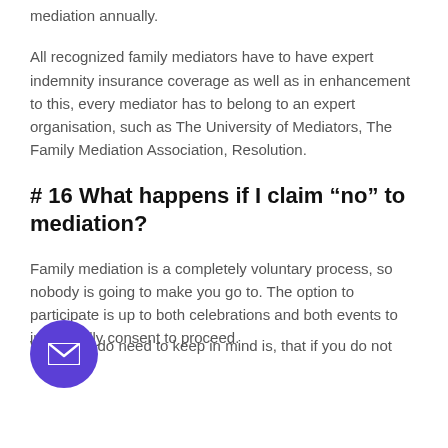mediation annually.
All recognized family mediators have to have expert indemnity insurance coverage as well as in enhancement to this, every mediator has to belong to an expert organisation, such as The University of Mediators, The Family Mediation Association, Resolution.
# 16 What happens if I claim “no” to mediation?
Family mediation is a completely voluntary process, so nobody is going to make you go to. The option to participate is up to both celebrations and both events to individually consent to proceed.
What you do need to keep in mind is, that if you do not